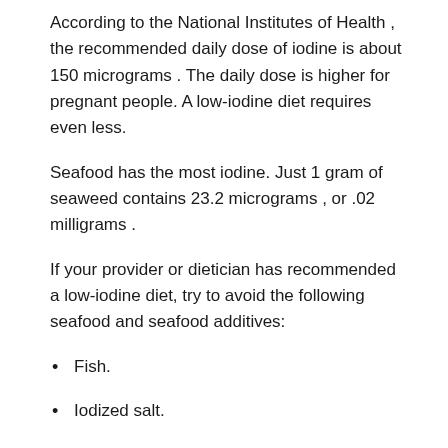According to the National Institutes of Health , the recommended daily dose of iodine is about 150 micrograms . The daily dose is higher for pregnant people. A low-iodine diet requires even less.
Seafood has the most iodine. Just 1 gram of seaweed contains 23.2 micrograms , or .02 milligrams .
If your provider or dietician has recommended a low-iodine diet, try to avoid the following seafood and seafood additives:
Fish.
Iodized salt.
Read Also: What Medications Can Affect Tsh Levels